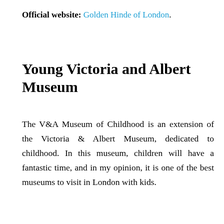Official website: Golden Hinde of London.
Young Victoria and Albert Museum
The V&A Museum of Childhood is an extension of the Victoria & Albert Museum, dedicated to childhood. In this museum, children will have a fantastic time, and in my opinion, it is one of the best museums to visit in London with kids.
In this mu... active play areas, including dressing up costumes. For adults, visiting ...will bring back memories of their childhood, due to the large collection of historical toys that it houses. It is
plantriplondon.com uses cookies. By continuing to browse the site, you are agreeing to our use of cookies and our Privacy Policy.
Privacy Preferences
I Agree